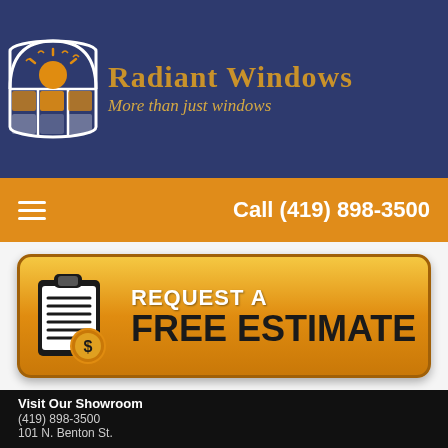[Figure (logo): Radiant Windows logo with sun and window arch graphic in white on navy background, with company name 'Radiant Windows' in gold serif font and tagline 'More than just windows' in gold italic.]
Call (419) 898-3500
[Figure (infographic): Orange gradient CTA button with clipboard and dollar coin icon, text reads 'REQUEST A FREE ESTIMATE']
Visit Our Showroom
(419) 898-3500
101 N. Benton St.